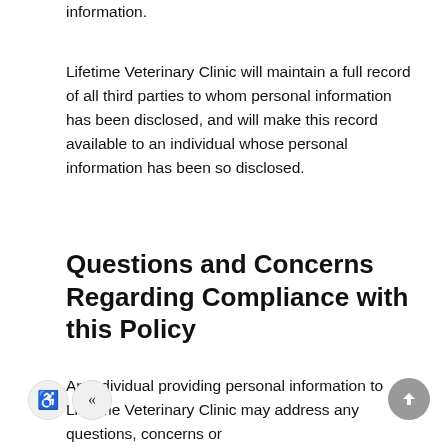information.
Lifetime Veterinary Clinic will maintain a full record of all third parties to whom personal information has been disclosed, and will make this record available to an individual whose personal information has been so disclosed.
Questions and Concerns Regarding Compliance with this Policy
An individual providing personal information to Lifetime Veterinary Clinic may address any questions, concerns or